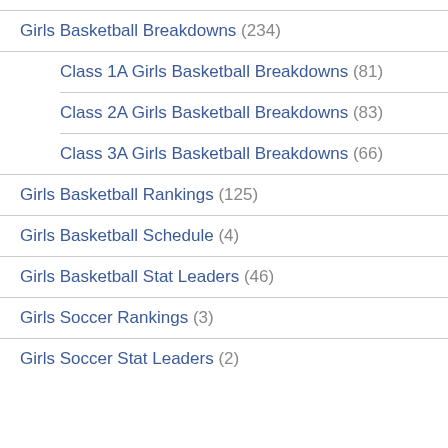Girls Basketball Breakdowns (234)
Class 1A Girls Basketball Breakdowns (81)
Class 2A Girls Basketball Breakdowns (83)
Class 3A Girls Basketball Breakdowns (66)
Girls Basketball Rankings (125)
Girls Basketball Schedule (4)
Girls Basketball Stat Leaders (46)
Girls Soccer Rankings (3)
Girls Soccer Stat Leaders (2)